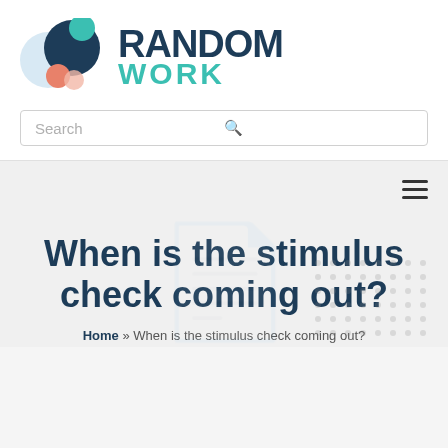[Figure (logo): Random Work logo with colorful overlapping circles on the left and 'RANDOM WORK' text on the right, where RANDOM is dark navy and WORK is teal]
Search
[Figure (infographic): Navigation bar with hamburger menu icon (three horizontal lines) on the right side]
When is the stimulus check coming out?
Home » When is the stimulus check coming out?